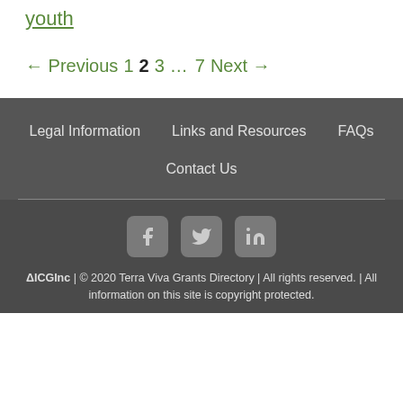youth
← Previous 1 2 3 … 7 Next →
Legal Information | Links and Resources | FAQs | Contact Us
ΔICGInc | © 2020 Terra Viva Grants Directory | All rights reserved. | All information on this site is copyright protected.